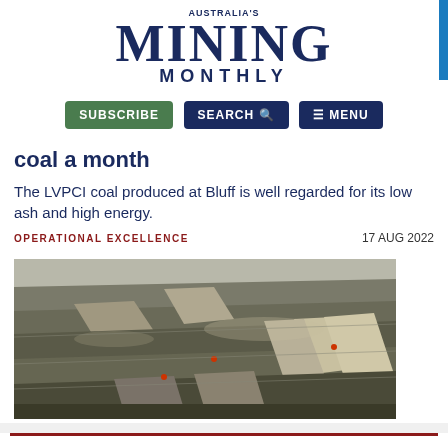AUSTRALIA'S MINING MONTHLY
coal a month
The LVPCI coal produced at Bluff is well regarded for its low ash and high energy.
OPERATIONAL EXCELLENCE   17 AUG 2022
[Figure (photo): Aerial view of an open-cut coal mine showing terraced levels, haul roads, and mining equipment]
BCC processes first BME coal and ships